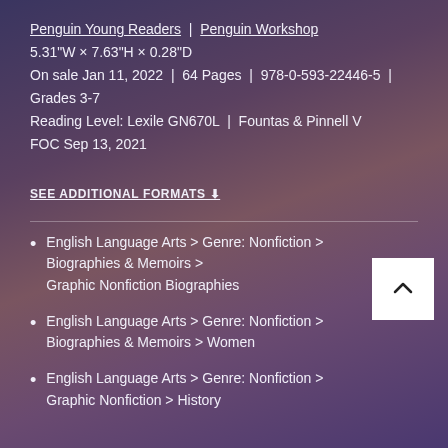Penguin Young Readers | Penguin Workshop
5.31"W × 7.63"H × 0.28"D
On sale Jan 11, 2022 | 64 Pages | 978-0-593-22446-5 | Grades 3-7
Reading Level: Lexile GN670L | Fountas & Pinnell V
FOC Sep 13, 2021
SEE ADDITIONAL FORMATS ↓
English Language Arts > Genre: Nonfiction > Biographies & Memoirs > Graphic Nonfiction Biographies
English Language Arts > Genre: Nonfiction > Biographies & Memoirs > Women
English Language Arts > Genre: Nonfiction > Graphic Nonfiction > History